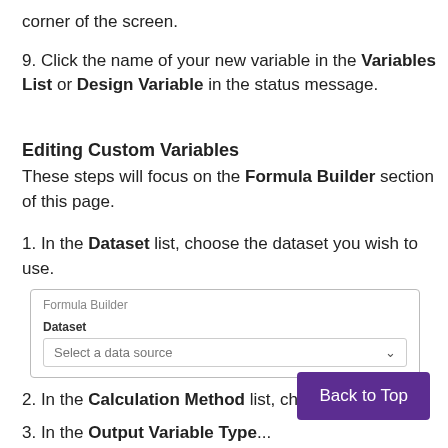corner of the screen.
9. Click the name of your new variable in the Variables List or Design Variable in the status message.
Editing Custom Variables
These steps will focus on the Formula Builder section of this page.
1. In the Dataset list, choose the dataset you wish to use.
[Figure (screenshot): Formula Builder UI panel showing a Dataset label and a 'Select a data source' dropdown]
2. In the Calculation Method list, choose...
3. In the Output Variable Type... (partially visible)